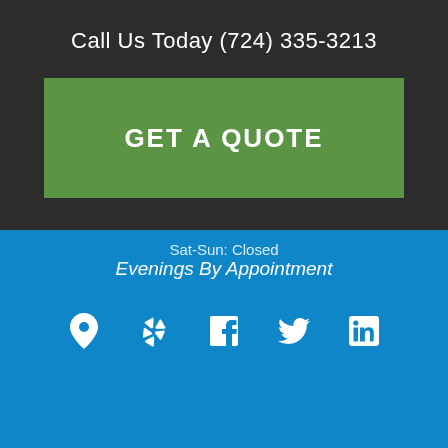Call Us Today (724) 335-3213
GET A QUOTE
Sat-Sun: Closed
Evenings By Appointment
[Figure (infographic): Row of 5 social/location icons: map pin, Yelp, Facebook, Twitter, LinkedIn]